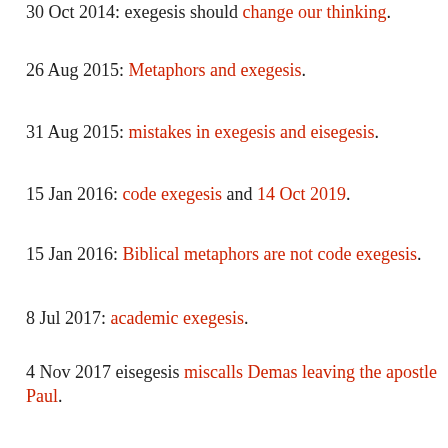30 Oct 2014: exegesis should change our thinking.
26 Aug 2015: Metaphors and exegesis.
31 Aug 2015: mistakes in exegesis and eisegesis.
15 Jan 2016: code exegesis and 14 Oct 2019.
15 Jan 2016: Biblical metaphors are not code exegesis.
8 Jul 2017: academic exegesis.
4 Nov 2017 eisegesis miscalls Demas leaving the apostle Paul.
16 Nov 2017: selective exegesis.